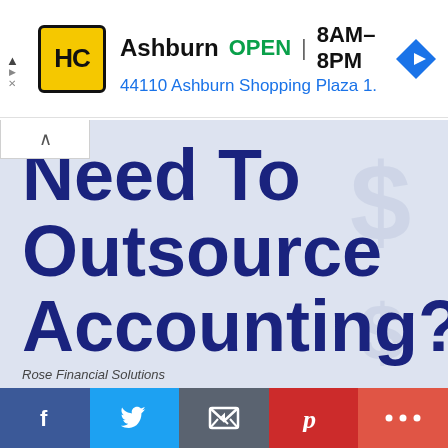[Figure (screenshot): Advertisement banner for HC (Honest-1 Auto Care or similar) in Ashburn showing logo, OPEN status, hours 8AM–8PM, and address 44110 Ashburn Shopping Plaza 1.]
Need To Outsource Accounting?
Rose Financial Solutions
[Figure (other): Social sharing bar with Facebook, Twitter, Email, Pinterest, and More buttons]